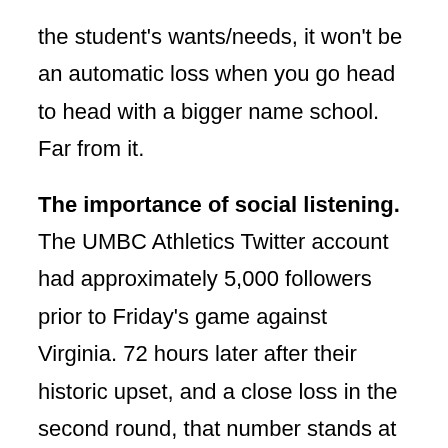the student's wants/needs, it won't be an automatic loss when you go head to head with a bigger name school. Far from it.
The importance of social listening. The UMBC Athletics Twitter account had approximately 5,000 followers prior to Friday's game against Virginia. 72 hours later after their historic upset, and a close loss in the second round, that number stands at just under 110,000. Social listening gives you the ability to take all those new conversations and followers and develop important insights and opportunities for engagement.
This generation values authenticity. A lot more